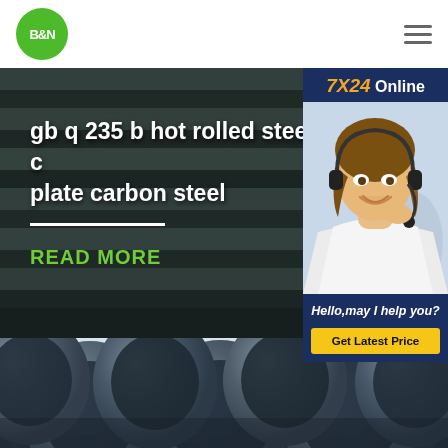[Figure (logo): B&N logo - green circle with white text]
[Figure (photo): Navigation hamburger menu icon]
[Figure (photo): Hot rolled steel rods/coils background image with text overlay: 'gb q 235 b hot rolled steel c... plate carbon steel' and 'READ MORE' link]
[Figure (photo): Chat widget panel showing '7X24 Online', woman with headset, 'Hello, may I help you?' text, and 'Get Latest Price' button]
[Figure (photo): Large black spiral welded steel pipes stacked together, lower section of page]